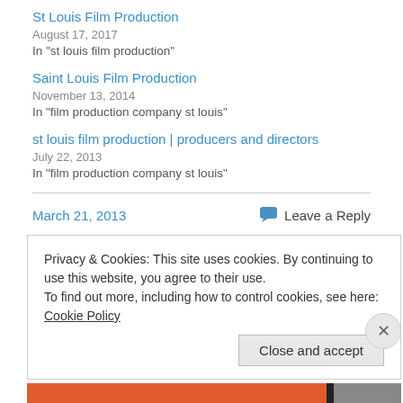St Louis Film Production
August 17, 2017
In "st louis film production"
Saint Louis Film Production
November 13, 2014
In "film production company st louis"
st louis film production | producers and directors
July 22, 2013
In "film production company st louis"
March 21, 2013
Leave a Reply
Privacy & Cookies: This site uses cookies. By continuing to use this website, you agree to their use.
To find out more, including how to control cookies, see here: Cookie Policy
Close and accept